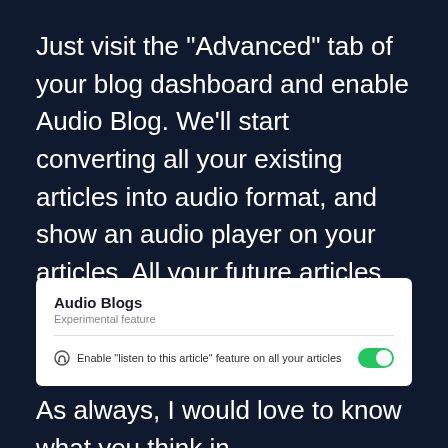Just visit the "Advanced" tab of your blog dashboard and enable Audio Blog. We'll start converting all your existing articles into audio format, and show an audio player on your articles. All your future articles will also be converted to audio automatically.
[Figure (screenshot): A UI screenshot of a blog dashboard settings panel titled 'Audio Blogs' with subtitle 'Experimental feature'. Below a divider, there is a row with a headphone icon, the label 'Enable "listen to this article" feature on all your articles', and a green toggle switch (enabled) on the right.]
As always, I would love to know what you think in